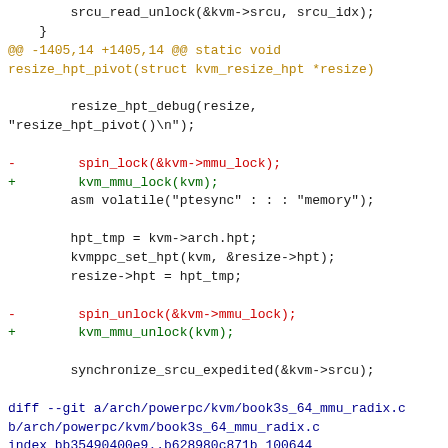srcu_read_unlock(&kvm->srcu, srcu_idx);
    }
@@ -1405,14 +1405,14 @@ static void resize_hpt_pivot(struct kvm_resize_hpt *resize)

        resize_hpt_debug(resize,
"resize_hpt_pivot()\n");

-        spin_lock(&kvm->mmu_lock);
+        kvm_mmu_lock(kvm);
        asm volatile("ptesync" : : : "memory");

        hpt_tmp = kvm->arch.hpt;
        kvmppc_set_hpt(kvm, &resize->hpt);
        resize->hpt = hpt_tmp;

-        spin_unlock(&kvm->mmu_lock);
+        kvm_mmu_unlock(kvm);

        synchronize_srcu_expedited(&kvm->srcu);

diff --git a/arch/powerpc/kvm/book3s_64_mmu_radix.c b/arch/powerpc/kvm/book3s_64_mmu_radix.c
index bb35490400e9..b628980c871b 100644
--- a/arch/powerpc/kvm/book3s_64_mmu_radix.c
+++ b/arch/powerpc/kvm/book3s_64_mmu_radix.c
@@ -613,7 +613,7 @@ int kvmppc_create_pte(struct kvm *kvm, pgd_t *pgtable, pte_t pte,
                new_ptep = kvmppc_pte_alloc();

        /* Check if we might have been invalidated: let